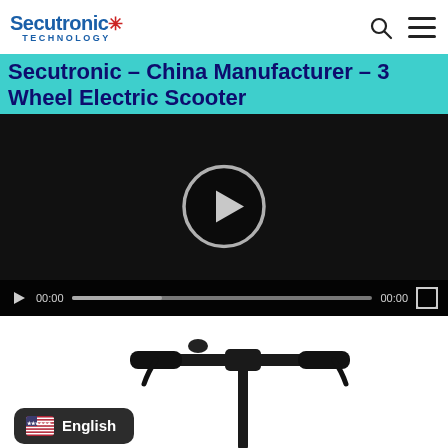Secutronic Technology
Secutronic – China Manufacturer – 3 Wheel Electric Scooter
[Figure (screenshot): Video player with dark background showing a paused video with a circular play button in the center, and video controls at the bottom showing 00:00 timestamps and a progress bar]
[Figure (photo): Black electric scooter handlebars and stem on white background]
English